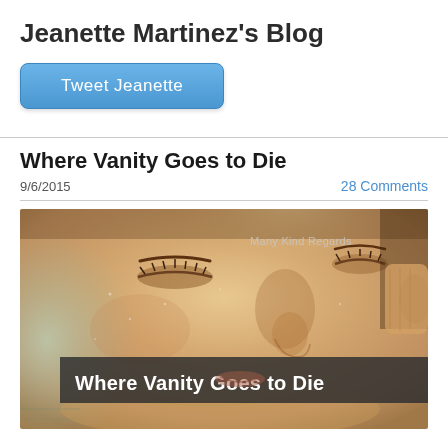Jeanette Martinez's Blog
Tweet Jeanette
Where Vanity Goes to Die
9/6/2015
28 Comments
[Figure (photo): Close-up photo of a woman with eyes closed, with watermark 'Many Kind Regards' and overlay text 'Where Vanity Goes to Die']